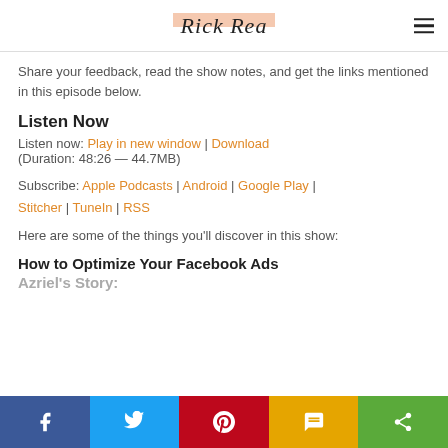Rick Rea
Share your feedback, read the show notes, and get the links mentioned in this episode below.
Listen Now
Listen now: Play in new window | Download
(Duration: 48:26 — 44.7MB)
Subscribe: Apple Podcasts | Android | Google Play | Stitcher | TuneIn | RSS
Here are some of the things you'll discover in this show:
How to Optimize Your Facebook Ads
Azriel's Story: